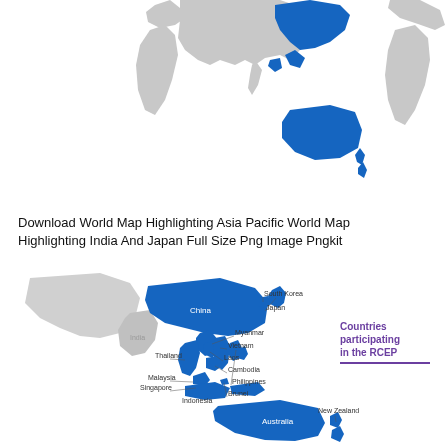[Figure (map): World map highlighting Asia Pacific region in blue, showing continents in gray. Partial view showing Asia, Australia, and parts of Americas and Africa.]
Download World Map Highlighting Asia Pacific World Map Highlighting India And Japan Full Size Png Image Pngkit
[Figure (map): Map of Asia-Pacific region showing countries participating in the RCEP highlighted in blue: China, South Korea, Japan, Myanmar, Vietnam, Laos, Cambodia, Philippines, Brunei, Thailand, Malaysia, Singapore, Indonesia, Australia, New Zealand. India shown in gray (non-participant). Legend box reads 'Countries participating in the RCEP' in purple.]